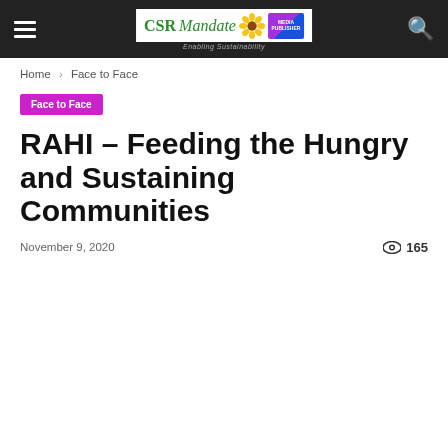CSR Mandate — Enabling Sustainability (navigation bar with hamburger menu and search icon)
Home › Face to Face
Face to Face
RAHI – Feeding the Hungry and Sustaining Communities
November 9, 2020   165 views